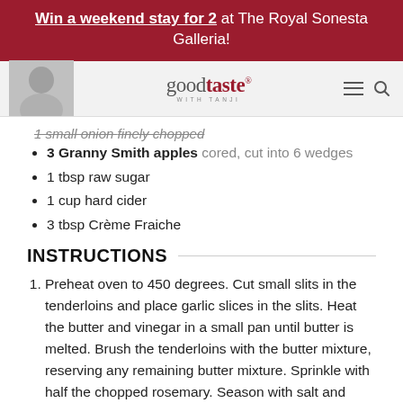Win a weekend stay for 2 at The Royal Sonesta Galleria!
[Figure (logo): goodtaste with Tanji logo and header with navigation icons]
1 small onion finely chopped (partially visible, struck through)
3 Granny Smith apples cored, cut into 6 wedges
1 tbsp raw sugar
1 cup hard cider
3 tbsp Crème Fraiche
INSTRUCTIONS
Preheat oven to 450 degrees. Cut small slits in the tenderloins and place garlic slices in the slits. Heat the butter and vinegar in a small pan until butter is melted. Brush the tenderloins with the butter mixture, reserving any remaining butter mixture. Sprinkle with half the chopped rosemary. Season with salt and pepper. Sprinkle the onion over the bottom of a buttered 11x16-inch shallow baking pan. Place the tenderloins over the onion. You may cover the tenderloins and refrigerate until ready to use.